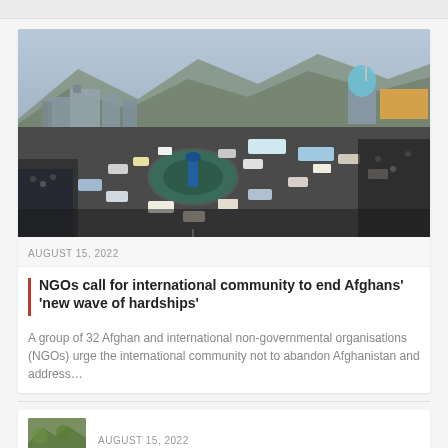[Figure (photo): Aerial view of a crowded roundabout in an Afghan city with heavy traffic, vehicles, pedestrians, and urban buildings with a mosque visible in the background]
AUGUST 15, 2022
NGOs call for international community to end Afghans' 'new wave of hardships'
A group of 32 Afghan and international non-governmental organisations (NGOs) urge the international community not to abandon Afghanistan and address…
AUGUST 15, 2022
[Figure (photo): Small thumbnail photo showing green trees or vegetation]